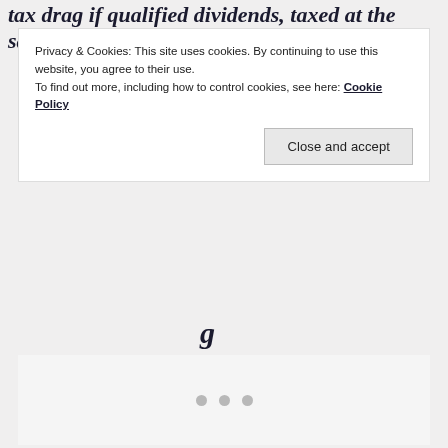tax drag if qualified dividends, taxed at the same
Privacy & Cookies: This site uses cookies. By continuing to use this website, you agree to their use.
To find out more, including how to control cookies, see here: Cookie Policy
Close and accept
[Figure (other): Partial italic bold letter 'g' visible, cut off by cookie banner overlay]
[Figure (other): Loading placeholder box with three gray dots indicating content loading]